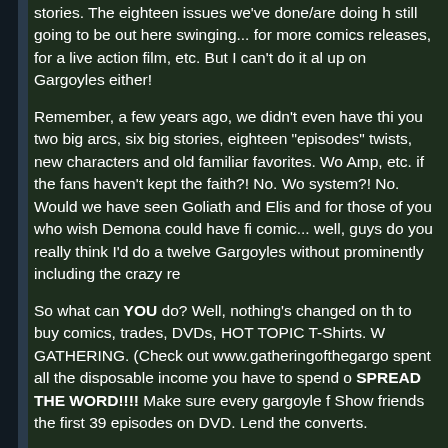stories. The eighteen issues we've done/are doing h still going to be out here swinging... for more comics releases, for a live action film, etc. But I can't do it al up on Gargoyles either!
Remember, a few years ago, we didn't even have thi you two big arcs, six big stories, eighteen "episodes" twists, new characters and old familiar favorites. Wo Amp, etc. if the fans haven't kept the faith?! No. Wo system?! No. Would we have seen Goliath and Elis and for those of you who wish Demona could have fi comic... well, guys do you really think I'd do a twelve Gargoyles without prominently including the crazy re
So what can YOU do? Well, nothing's changed on th to buy comics, trades, DVDs, HOT TOPIC T-Shirts. GATHERING. (Check out www.gatheringofthegargo spent all the disposable income you have to spend o SPREAD THE WORD!!!! Make sure every gargoyle f Show friends the first 39 episodes on DVD. Lend the converts.
And mostly... just keep the faith...